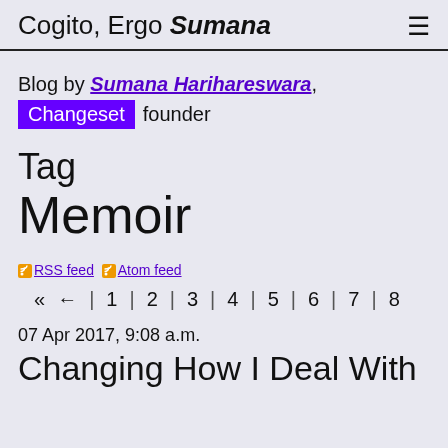Cogito, Ergo Sumana ≡
Blog by Sumana Harihareswara, Changeset founder
Tag
Memoir
RSS feed  Atom feed
« ← | 1 | 2 | 3 | 4 | 5 | 6 | 7 | 8
07 Apr 2017, 9:08 a.m.
Changing How I Deal With